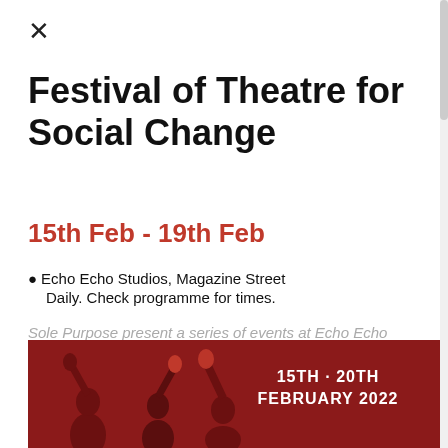×
Festival of Theatre for Social Change
15th Feb - 19th Feb
Echo Echo Studios, Magazine Street Daily. Check programme for times.
Sole Purpose present a series of events at Echo Echo Studios as part of their 25th anniversary festival...
[Figure (photo): Dark red banner image showing silhouetted figures with raised fists, with text overlay reading '15TH · 20TH FEBRUARY 2022']